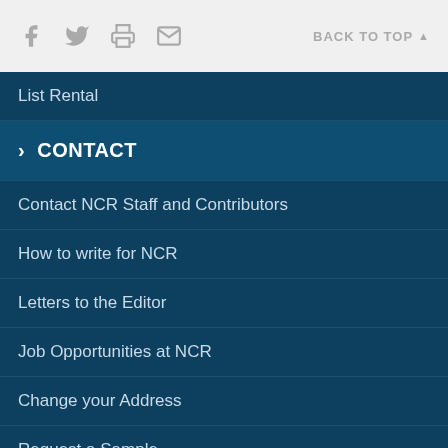Social icons: Facebook, Twitter, Print, Email | BACK TO TOP
List Rental
› CONTACT
Contact NCR Staff and Contributors
How to write for NCR
Letters to the Editor
Job Opportunities at NCR
Change your Address
Request a Sample
Reprints
Web User Guidelines
Privacy Policy